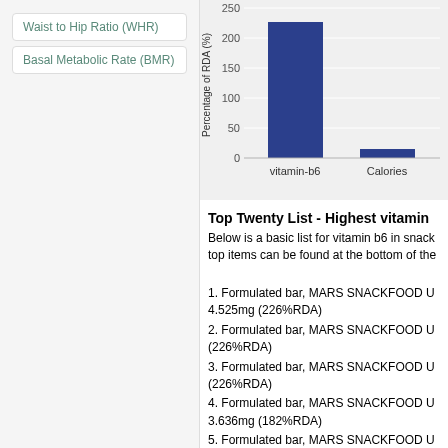Waist to Hip Ratio (WHR)
Basal Metabolic Rate (BMR)
[Figure (bar-chart): Percentage of RDA (%)]
Top Twenty List - Highest vitamin
Below is a basic list for vitamin b6 in snack top items can be found at the bottom of the
1. Formulated bar, MARS SNACKFOOD U 4.525mg (226%RDA)
2. Formulated bar, MARS SNACKFOOD U (226%RDA)
3. Formulated bar, MARS SNACKFOOD U (226%RDA)
4. Formulated bar, MARS SNACKFOOD U 3.636mg (182%RDA)
5. Formulated bar, MARS SNACKFOOD U 3.636mg (182%RDA)
6. Formulated bar, MARS SNACKFOOD U Caramel Nut Rush 2.5mg (125%RDA)
7. Formulated bar, LUNA BAR, NUTZ OV